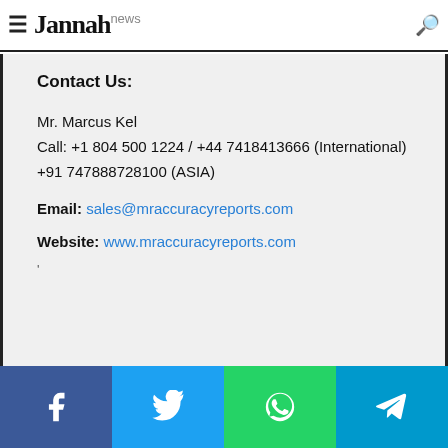Jannah news
...who will guarantee you to get a result that suits your necessities
Contact Us:
Mr. Marcus Kel
Call: +1 804 500 1224 / +44 7418413666 (International)
+91 747888728100 (ASIA)
Email: sales@mraccuracyreports.com
Website: www.mraccuracyreports.com
'